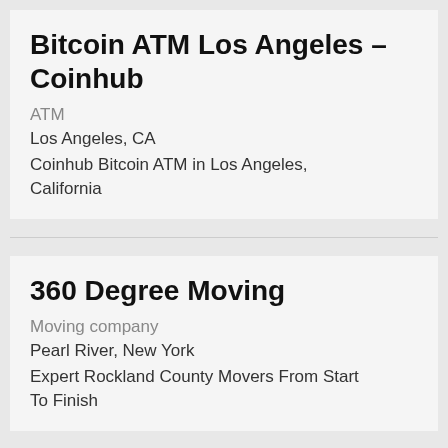Bitcoin ATM Los Angeles – Coinhub
ATM
Los Angeles, CA
Coinhub Bitcoin ATM in Los Angeles, California
360 Degree Moving
Moving company
Pearl River, New York
Expert Rockland County Movers From Start To Finish